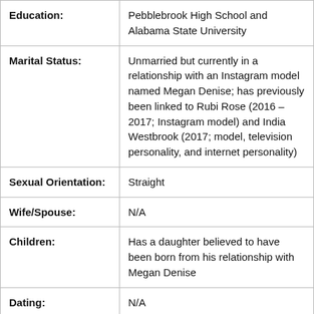| Field | Value |
| --- | --- |
| Education: | Pebblebrook High School and Alabama State University |
| Marital Status: | Unmarried but currently in a relationship with an Instagram model named Megan Denise; has previously been linked to Rubi Rose (2016 – 2017; Instagram model) and India Westbrook (2017; model, television personality, and internet personality) |
| Sexual Orientation: | Straight |
| Wife/Spouse: | N/A |
| Children: | Has a daughter believed to have been born from his relationship with Megan Denise |
| Dating: | N/A |
| Net Worth: | USD 10 million (as of March 1, 2022) |